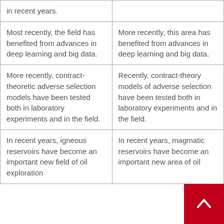| in recent years. |  |
| Most recently, the field has benefited from advances in deep learning and big data. | More recently, this area has benefited from advances in deep learning and big data. |
| More recently, contract-theoretic adverse selection models have been tested both in laboratory experiments and in the field. | Recently, contract-theory models of adverse selection have been tested both in laboratory experiments and in the field. |
| In recent years, igneous reservoirs have become an important new field of oil exploration | In recent years, magmatic reservoirs have become an important new area of oil |